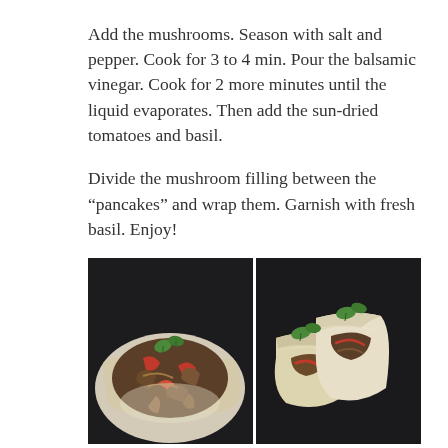Add the mushrooms. Season with salt and pepper. Cook for 3 to 4 min. Pour the balsamic vinegar. Cook for 2 more minutes until the liquid evaporates. Then add the sun-dried tomatoes and basil.
Divide the mushroom filling between the “pancakes” and wrap them. Garnish with fresh basil. Enjoy!
[Figure (photo): Two food photos side by side on a dark slate background. Left: an open pancake/crepe wrap filled with sautéed mushrooms, red peppers, and other vegetables, garnished with fresh green basil leaves. Right: two folded/wrapped pancakes on dark slate, also garnished with fresh basil leaves, with mushroom and vegetable filling visible.]